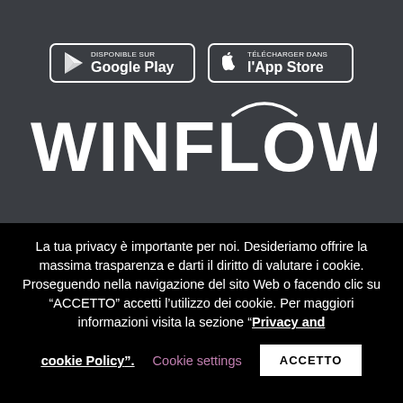[Figure (logo): Google Play and Apple App Store download buttons on dark grey background, with the WINFLOW brand logo below in large white text with a stylized loop above the O.]
La tua privacy è importante per noi. Desideriamo offrire la massima trasparenza e darti il diritto di valutare i cookie. Proseguendo nella navigazione del sito Web o facendo clic su "ACCETTO" accetti l'utilizzo dei cookie. Per maggiori informazioni visita la sezione "Privacy and cookie Policy". Cookie settings  ACCETTO